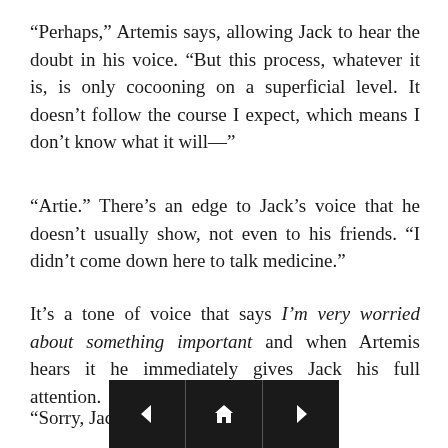“Perhaps,” Artemis says, allowing Jack to hear the doubt in his voice. “But this process, whatever it is, is only cocooning on a superficial level. It doesn’t follow the course I expect, which means I don’t know what it will—”
“Artie.” There’s an edge to Jack’s voice that he doesn’t usually show, not even to his friends. “I didn’t come down here to talk medicine.”
It’s a tone of voice that says I’m very worried about something important and when Artemis hears it he immediately gives Jack his full attention.
“Sorry, Jack. Go o
[Figure (other): Navigation bar with left arrow, home icon, and right arrow buttons on dark background]